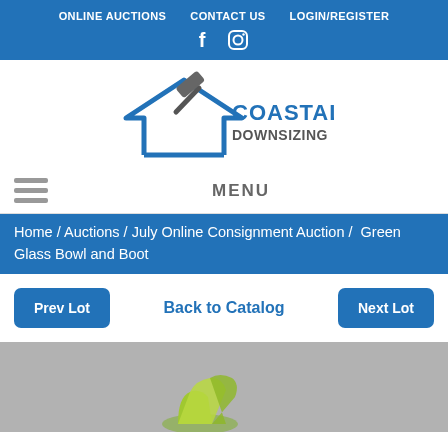ONLINE AUCTIONS   CONTACT US   LOGIN/REGISTER
[Figure (logo): Coastal Downsizing logo with gavel and house icon]
MENU
Home / Auctions / July Online Consignment Auction /  Green Glass Bowl and Boot
Prev Lot    Back to Catalog    Next Lot
[Figure (photo): Green glass bowl and boot items photographed against grey background]